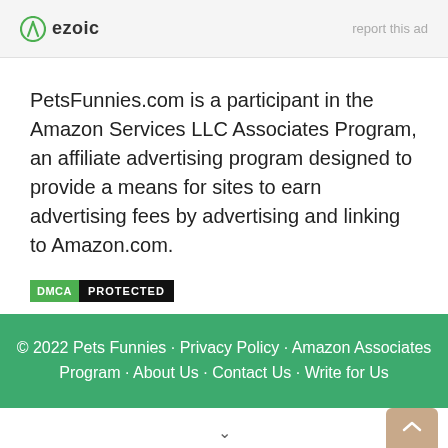[Figure (logo): Ezoic logo with circular icon and text 'ezoic', with 'report this ad' text on the right]
PetsFunnies.com is a participant in the Amazon Services LLC Associates Program, an affiliate advertising program designed to provide a means for sites to earn advertising fees by advertising and linking to Amazon.com.
[Figure (logo): DMCA PROTECTED badge — green DMCA label and black PROTECTED label]
© 2022 Pets Funnies · Privacy Policy · Amazon Associates Program · About Us · Contact Us · Write for Us